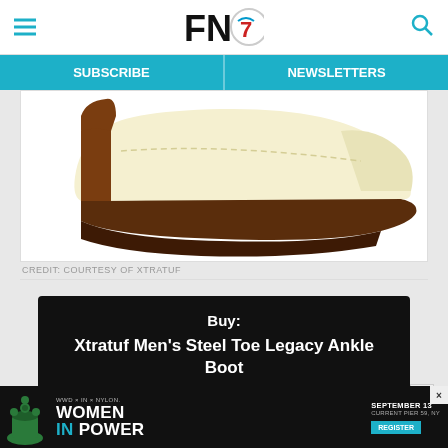FN7 — SUBSCRIBE | NEWSLETTERS
[Figure (photo): Side view of an Xtratuf ankle boot with cream/tan body and dark brown sole and heel, on white background]
CREDIT: COURTESY OF XTRATUF
Buy: Xtratuf Men's Steel Toe Legacy Ankle Boot $140
[Figure (infographic): Advertisement banner: WWD x IN x NYLON — WOMEN IN POWER — SEPTEMBER 13, CURRENT PIER 59, NY — REGISTER button — chess queen piece illustration]